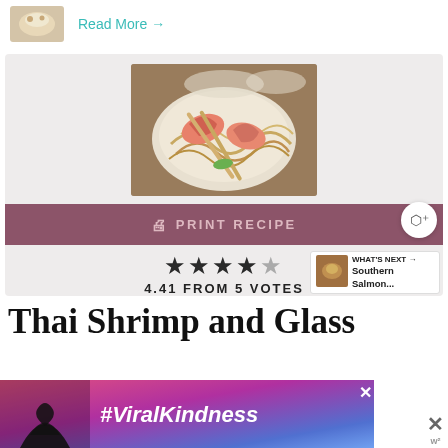[Figure (photo): Small thumbnail of a food dish (top left)]
Read More →
[Figure (photo): Bowl of Thai shrimp and glass noodles with chopsticks, viewed from above]
🖨 PRINT RECIPE
★★★★☆ 4.41 FROM 5 VOTES
[Figure (photo): What's Next thumbnail - Southern Salmon...]
Thai Shrimp and Glass
[Figure (photo): Advertisement banner: #ViralKindness with heart hands silhouette]